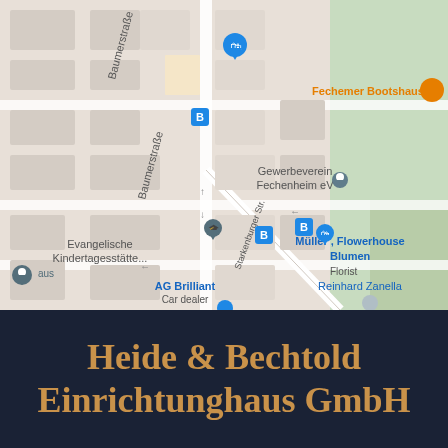[Figure (map): Google Maps screenshot showing a street map of Fechenheim area with landmarks including Gewerbeverein Fechenheim eV, Müller Flowerhouse Blumen (Florist), Evangelische Kindertagesstätte, AG Brilliant Car dealer, Reinhard Zanella, Fechemer Bootshaus, and street names including Baumerstraße and Starkenburger Str.]
Heide & Bechtold Einrichtunghaus GmbH